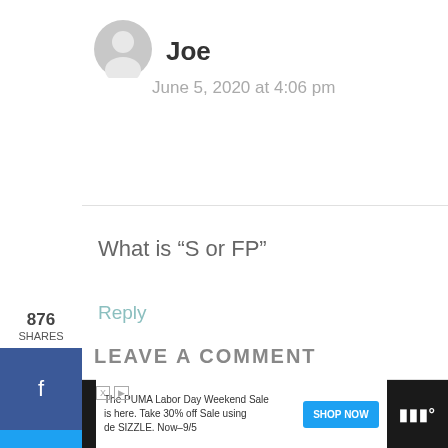[Figure (illustration): Grey circular user avatar icon]
Joe
June 5, 2020 at 4:06 pm
876 SHARES
[Figure (illustration): Facebook share button (blue)]
[Figure (illustration): Twitter share button (light blue)]
[Figure (illustration): Pinterest share button (red)]
What is “S or FP”
Reply
[Figure (illustration): Heart/like button (teal circle with heart icon), count: 884]
[Figure (illustration): Share button (white circle with share icon)]
LEAVE A COMMENT
The PUMA Labor Day Weekend Sale is here. Take 30% off Sale using de SIZZLE. Now-9/5
SHOP NOW